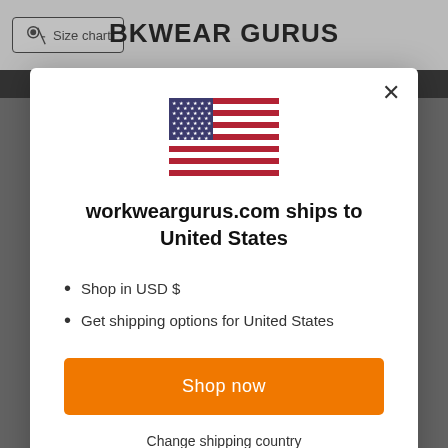[Figure (screenshot): Website header with size chart button and WORKWEAR GURUS logo on light background, followed by dark navigation bar and product images in background]
[Figure (illustration): United States flag SVG illustration centered in modal dialog]
workweargurus.com ships to United States
Shop in USD $
Get shipping options for United States
Shop now
Change shipping country